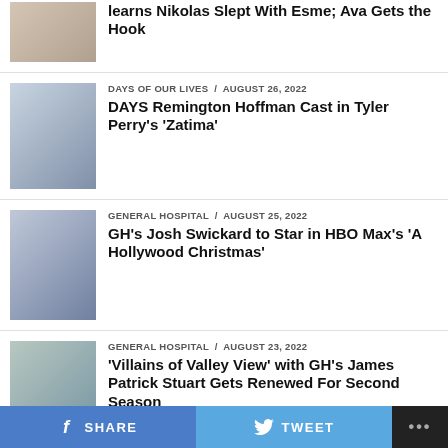learns Nikolas Slept With Esme; Ava Gets the Hook
DAYS OF OUR LIVES / August 26, 2022 — DAYS Remington Hoffman Cast in Tyler Perry's 'Zatima'
GENERAL HOSPITAL / August 25, 2022 — GH's Josh Swickard to Star in HBO Max's 'A Hollywood Christmas'
GENERAL HOSPITAL / August 23, 2022 — 'Villains of Valley View' with GH's James Patrick Stuart Gets Renewed For Second Season
BREAKING NEWS / August 22, 2022 — Emma Samms Returning to General Hospital After Battle with Long Covid
SHARE   TWEET   ...